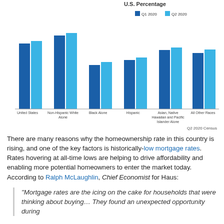[Figure (grouped-bar-chart): U.S. Percentage]
Q2 2020 Census
There are many reasons why the homeownership rate in this country is rising, and one of the key factors is historically-low mortgage rates. Rates hovering at all-time lows are helping to drive affordability and enabling more potential homeowners to enter the market today. According to Ralph McLaughlin, Chief Economist for Haus:
“Mortgage rates are the icing on the cake for households that were thinking about buying… They found an unexpected opportunity during